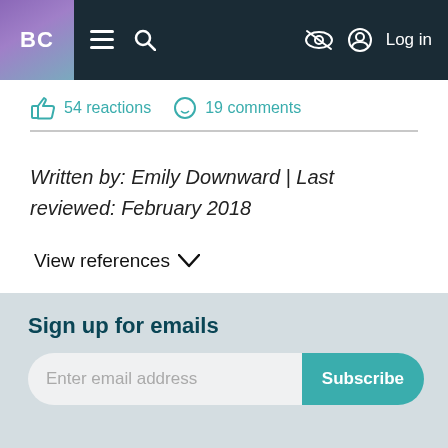BC | ☰ 🔍 | 🚫👁 ⊙ Log in
54 reactions  19 comments
Written by: Emily Downward | Last reviewed: February 2018
View references ∨
Sign up for emails
Enter email address  Subscribe